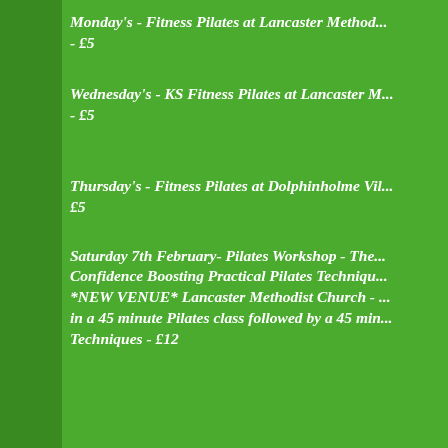Monday's - Fitness Pilates at Lancaster Metho... - £5
Wednesday's - KS Fitness Pilates at Lancaster ... - £5
Thursday's - Fitness Pilates at Dolphinholme Vi... £5
Saturday 7th February- Pilates Workshop - The... Confidence Boosting Practical Pilates Techniqu... *NEW VENUE* Lancaster Methodist Church - ... in a 45 minute Pilates class followed by a 45 min... Techniques - £12